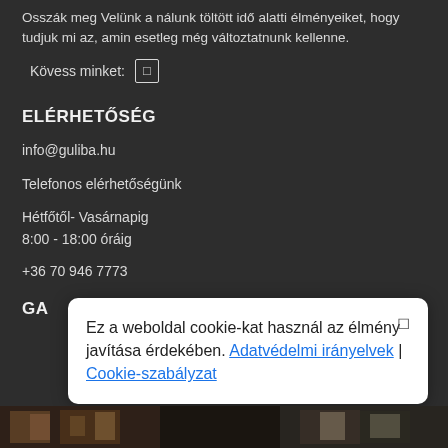Osszák meg Velünk a nálunk töltött idő alatti élményeiket, hogy tudjuk mi az, amin esetleg még változtatnunk kellenne.
Kövess minket:
ELÉRHETŐSÉG
info@guliba.hu
Telefonos elérhetőségünk
Hétfőtől- Vasárnapig
8:00 - 18:00 óráig
+36 70 946 7773
GA
Ez a weboldal cookie-kat használ az élmény javítása érdekében. Adatvédelmi irányelvek | Cookie-szabályzat
[Figure (photo): Bottom photo strip showing interior room with curtains and window]